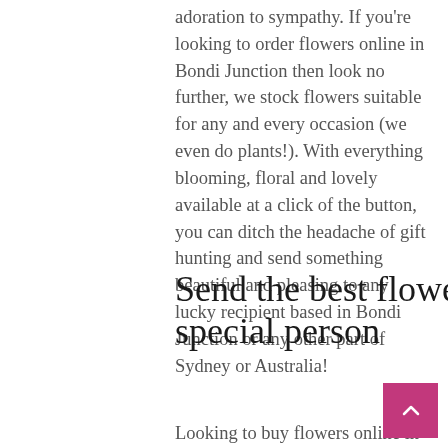adoration to sympathy. If you're looking to order flowers online in Bondi Junction then look no further, we stock flowers suitable for any and every occasion (we even do plants!). With everything blooming, floral and lovely available at a click of the button, you can ditch the headache of gift hunting and send something beautiful and pleasing to any lucky recipient based in Bondi Junction or any other part of Sydney or Australia!
Send the best flowers in Bondi Junction to that special person
Looking to buy flowers online in Bondi